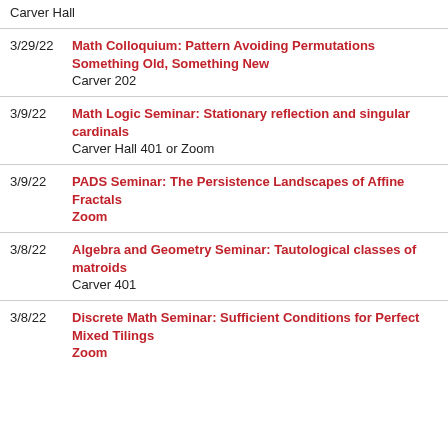Carver Hall
3/29/22 | Math Colloquium: Pattern Avoiding Permutations Something Old, Something New | Carver 202
3/9/22 | Math Logic Seminar: Stationary reflection and singular cardinals | Carver Hall 401 or Zoom
3/9/22 | PADS Seminar: The Persistence Landscapes of Affine Fractals | Zoom
3/8/22 | Algebra and Geometry Seminar: Tautological classes of matroids | Carver 401
3/8/22 | Discrete Math Seminar: Sufficient Conditions for Perfect Mixed Tilings | Zoom